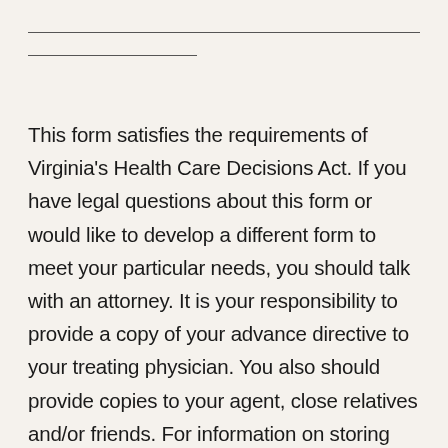__________________________________ __________________
This form satisfies the requirements of Virginia's Health Care Decisions Act. If you have legal questions about this form or would like to develop a different form to meet your particular needs, you should talk with an attorney. It is your responsibility to provide a copy of your advance directive to your treating physician. You also should provide copies to your agent, close relatives and/or friends. For information on storing this advance directive in the free Virginia Advance Health Directive Registry, go to http://www.VirginiaRegistry.org. This form is